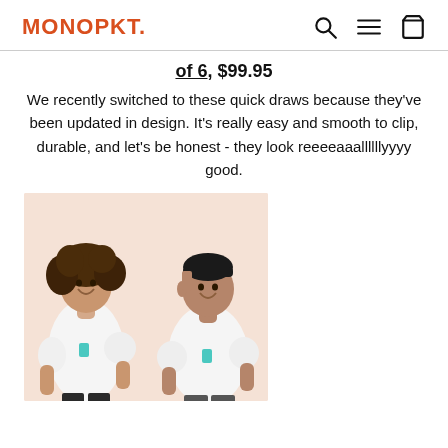MONOPKT.
of 6, $99.95
We recently switched to these quick draws because they've been updated in design. It's really easy and smooth to clip, durable, and let's be honest - they look reeeeaaallllllyyyy good.
[Figure (photo): Two models (a woman and a man) wearing white t-shirts with a teal logo on the chest, posing against a light peach/pink background.]